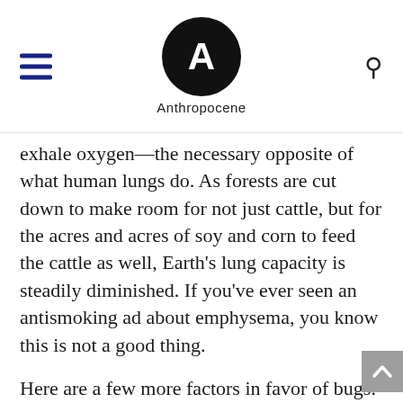Anthropocene
exhale oxygen—the necessary opposite of what human lungs do. As forests are cut down to make room for not just cattle, but for the acres and acres of soy and corn to feed the cattle as well, Earth's lung capacity is steadily diminished. If you've ever seen an antismoking ad about emphysema, you know this is not a good thing.
Here are a few more factors in favor of bugs: A cow gives birth to one calf per year. In that same time, a pig can produce